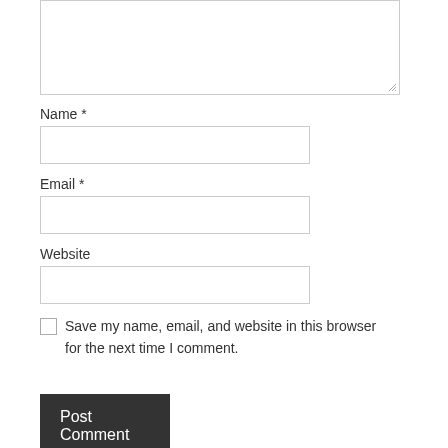[Figure (screenshot): A comment form textarea (partially visible at top), with a resize handle in the bottom-right corner]
Name *
[Figure (screenshot): Text input field for Name]
Email *
[Figure (screenshot): Text input field for Email]
Website
[Figure (screenshot): Text input field for Website]
Save my name, email, and website in this browser for the next time I comment.
Post Comment